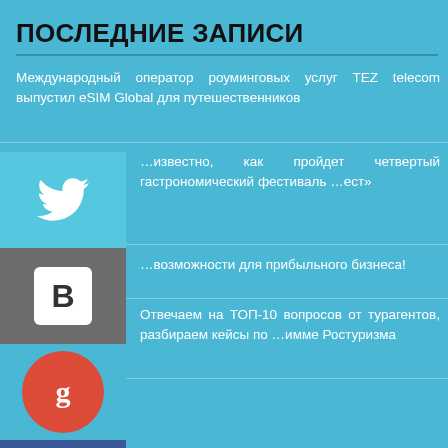ПОСЛЕДНИЕ ЗАПИСИ
Международный оператор роуминговых услуг TEZ telecom выпустил eSIM Global для путешественников
…известно, как пройдет четвертый гастрономический фестиваль …ест»
…возможности для прибыльного бизнеса!
Отвечаем на ТОП-10 вопросов от турагентов, разбираем кейсы по …имме Ростуризма
[Figure (infographic): Social share overlay icons: Twitter (light blue square), VK (grey square with B), Google+ (red circle), Facebook (dark blue square with f)]
Туристический портал. Все права защищены.
[Figure (infographic): Footer social icons row: Twitter bird, Facebook f, Google+ g+, RSS feed symbol]